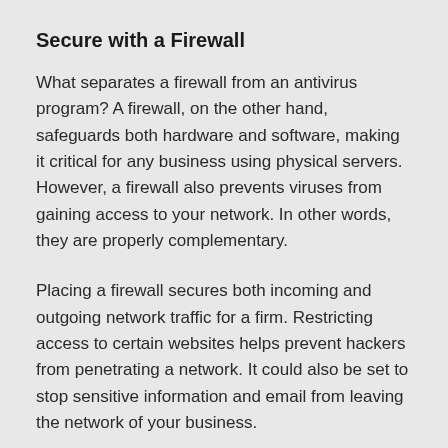Secure with a Firewall
What separates a firewall from an antivirus program? A firewall, on the other hand, safeguards both hardware and software, making it critical for any business using physical servers. However, a firewall also prevents viruses from gaining access to your network. In other words, they are properly complementary.
Placing a firewall secures both incoming and outgoing network traffic for a firm. Restricting access to certain websites helps prevent hackers from penetrating a network. It could also be set to stop sensitive information and email from leaving the network of your business.